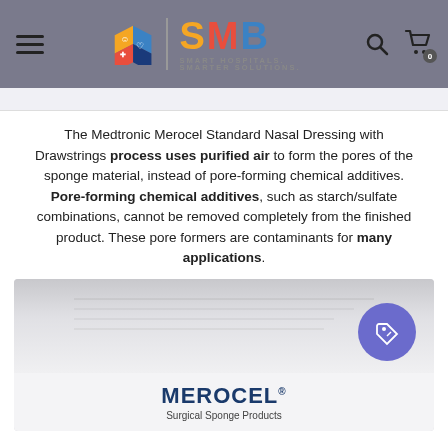SMB - Smart Hospitals. Smarter Solutions. [Navigation header with logo, search, and cart icons]
The Medtronic Merocel Standard Nasal Dressing with Drawstrings process uses purified air to form the pores of the sponge material, instead of pore-forming chemical additives. Pore-forming chemical additives, such as starch/sulfate combinations, cannot be removed completely from the finished product. These pore formers are contaminants for many applications.
[Figure (photo): Product box photo showing Merocel Surgical Sponge Products packaging with a purple price/tag badge icon in the top right corner.]